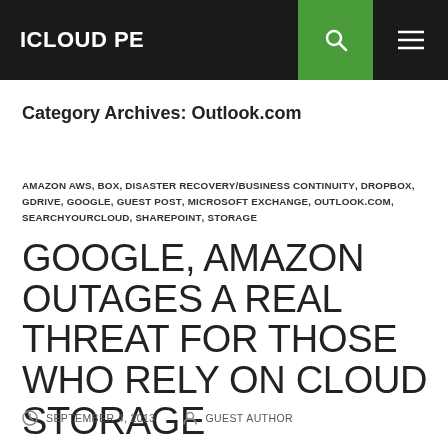ICLOUD PE
Category Archives: Outlook.com
AMAZON AWS, BOX, DISASTER RECOVERY/BUSINESS CONTINUITY, DROPBOX, GDRIVE, GOOGLE, GUEST POST, MICROSOFT EXCHANGE, OUTLOOK.COM, SEARCHYOURCLOUD, SHAREPOINT, STORAGE
GOOGLE, AMAZON OUTAGES A REAL THREAT FOR THOSE WHO RELY ON CLOUD STORAGE
SEPTEMBER 4, 2013   GUEST AUTHOR